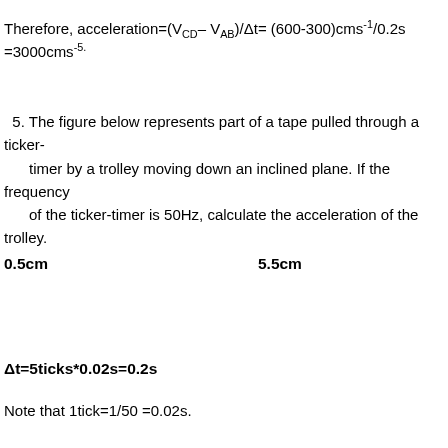5. The figure below represents part of a tape pulled through a ticker-timer by a trolley moving down an inclined plane. If the frequency of the ticker-timer is 50Hz, calculate the acceleration of the trolley.
0.5cm    5.5cm
Note that 1tick=1/50 =0.02s.